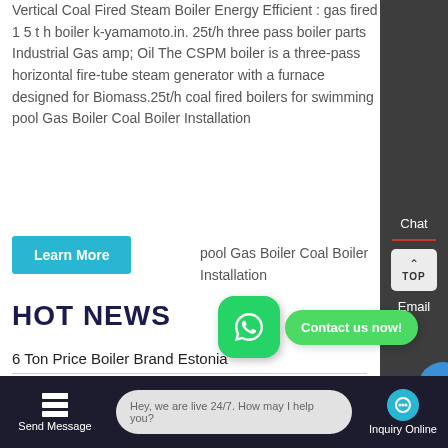Vertical Coal Fired Steam Boiler Energy Efficient : gas fired 15 t h boiler k-yamamoto.in. 25t/h three pass boiler parts Industrial Gas amp; Oil The CSPM boiler is a three-pass horizontal fire-tube steam generator with a furnace designed for Biomass.25t/h coal fired boilers for swimming pool Gas Boiler Coal Boiler Installation
Learn More
HOT NEWS
6 Ton Price Boiler Brand Estonia
Price 10 Ton Boiler Plant Georgia
Coal And Biomass Gas Pellet Fired Boiler
Com...al La...
Chat
Email
[Figure (screenshot): WhatsApp icon (green rounded square with phone handset) and green 'Contact us now!' speech bubble]
Hey, we are live 24/7. How may I help you?
Send Message
Inquiry Online